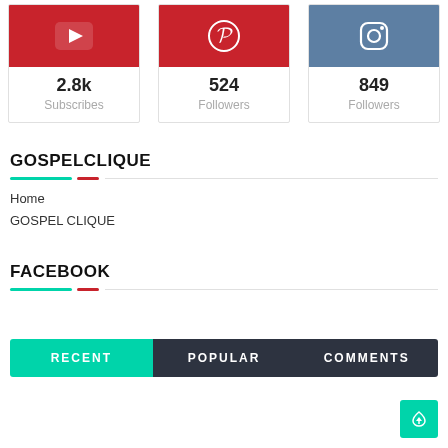[Figure (infographic): Three social media cards: YouTube (2.8k Subscribes), Pinterest (524 Followers), Instagram (849 Followers)]
GOSPELCLIQUE
Home
GOSPEL CLIQUE
FACEBOOK
[Figure (infographic): Tab bar with three options: RECENT (active, teal), POPULAR (dark), COMMENTS (dark)]